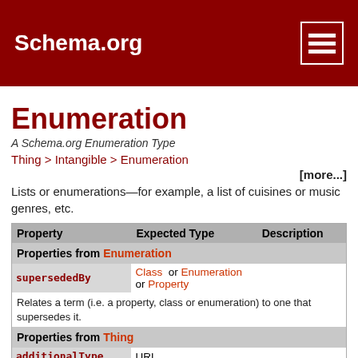Schema.org
Enumeration
A Schema.org Enumeration Type
Thing > Intangible > Enumeration
[more...]
Lists or enumerations—for example, a list of cuisines or music genres, etc.
| Property | Expected Type | Description |
| --- | --- | --- |
| Properties from Enumeration |  |  |
| supersededBy | Class  or  Enumeration  or  Property |  |
|  |  | Relates a term (i.e. a property, class or enumeration) to one that supersedes it. |
| Properties from Thing |  |  |
| additionalType | URL |  |
|  |  | An additional type for the item, typically used for adding more specific types from external vocabularies in microdata syntax. This is a relationship between something and a class that the thing is in. In RDFa syntax, it is better to use the native RDFa syntax - the |